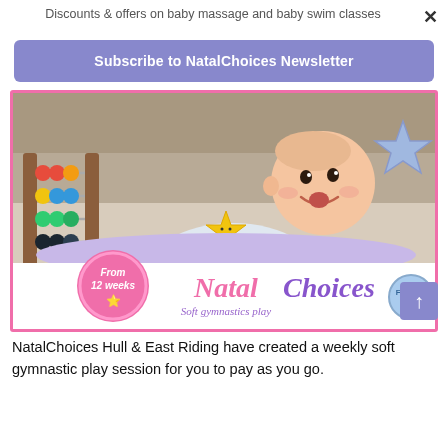Discounts & offers on baby massage and baby swim classes
Subscribe to NatalChoices Newsletter
[Figure (photo): Baby lying on tummy on a carpet smiling, with colorful toy abacus on the left and building blocks. NatalChoices logo and 'Soft gymnastics play' tagline at bottom. Pink circle badge says 'From 12 weeks'. Blue star decoration top right. FEDANT badge bottom right.]
NatalChoices Hull & East Riding have created a weekly soft gymnastic play session for you to pay as you go.